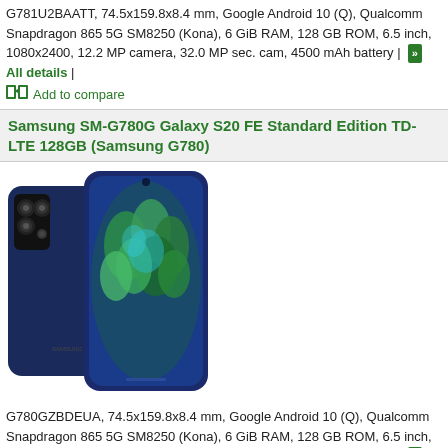G781U2BAAT1, 74.5x159.8x8.4 mm, Google Android 10 (Q), Qualcomm Snapdragon 865 5G SM8250 (Kona), 6 GiB RAM, 128 GB ROM, 6.5 inch, 1080x2400, 12.2 MP camera, 32.0 MP sec. cam, 4500 mAh battery | All details |
Add to compare
Samsung SM-G780G Galaxy S20 FE Standard Edition TD-LTE 128GB (Samsung G780)
[Figure (photo): Samsung SM-G780G Galaxy S20 FE smartphone shown from front and back in navy blue color]
G780GZBDEUA, 74.5x159.8x8.4 mm, Google Android 10 (Q), Qualcomm Snapdragon 865 5G SM8250 (Kona), 6 GiB RAM, 128 GB ROM, 6.5 inch, 1080x2400, 12.2 MP camera, 32.0 MP sec. cam, 4500 mAh battery | All details |
Add to compare
Samsung SM-G781B Galaxy S20 FE 5G Standard Global TD-LTE 128GB (Samsung G781)